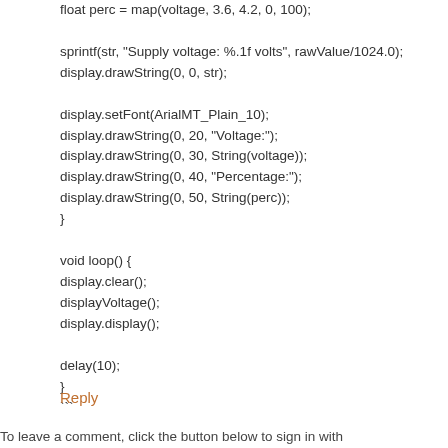float perc = map(voltage, 3.6, 4.2, 0, 100);

sprintf(str, "Supply voltage: %.1f volts", rawValue/1024.0);
display.drawString(0, 0, str);

display.setFont(ArialMT_Plain_10);
display.drawString(0, 20, "Voltage:");
display.drawString(0, 30, String(voltage));
display.drawString(0, 40, "Percentage:");
display.drawString(0, 50, String(perc));
}

void loop() {
display.clear();
displayVoltage();
display.display();

delay(10);
}
```
Reply
To leave a comment, click the button below to sign in with...